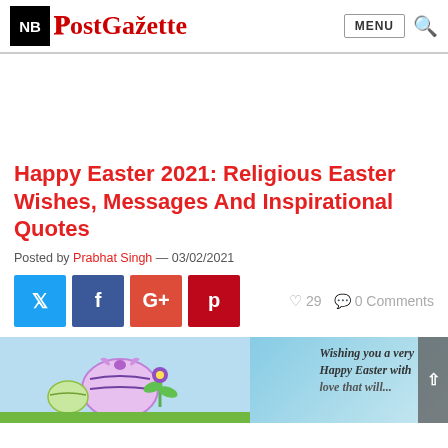NB PostGazette — MENU [search]
Happy Easter 2021: Religious Easter Wishes, Messages And Inspirational Quotes
Posted by Prabhat Singh — 03/02/2021
[Figure (infographic): Social share buttons: Twitter (blue), Facebook (dark blue), Google+ (red-orange), Pinterest (dark red). Stats: 29 likes, 0 Comments]
[Figure (photo): Easter themed photo showing decorative eggs with ribbon and flowers in purple/blue tones on a light blue background. Text overlay reads: Wishing you a very Happy Easter with love that will...]